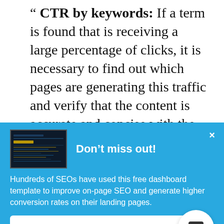" CTR by keywords: If a term is found that is receiving a large percentage of clicks, it is necessary to find out which pages are generating this traffic and verify that the content is accurate and concise with the searched terms."
[Figure (screenshot): A promotional banner with blue background containing a thumbnail image of a dashboard, a headline 'Don't miss out!', body text about SEO dashboard template, and a 'GET FREE DASHBOARD' button.]